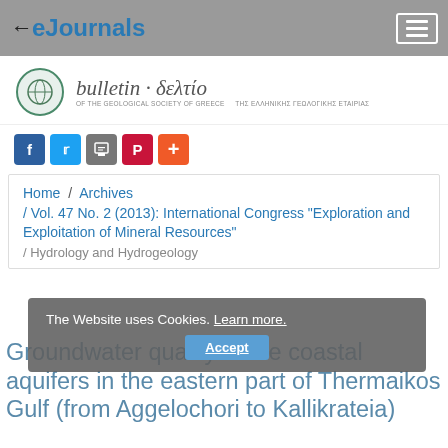eJournals
[Figure (logo): Bulletin of the Geological Society of Greece - journal logo with circular emblem and bilingual title 'bulletin · δελτίο']
[Figure (infographic): Social share buttons: Facebook, Twitter, Print, Pinterest, Plus]
Home / Archives / Vol. 47 No. 2 (2013): International Congress "Exploration and Exploitation of Mineral Resources" / Hydrology and Hydrogeology
The Website uses Cookies. Learn more.
Accept
Groundwater quality of the coastal aquifers in the eastern part of Thermaikos Gulf (from Aggelochori to Kallikrateia)